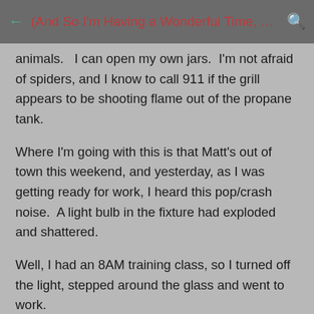(And So I'm Having a Wonderful Time, But I...
animals.   I can open my own jars.  I'm not afraid of spiders, and I know to call 911 if the grill appears to be shooting flame out of the propane tank.
Where I'm going with this is that Matt's out of town this weekend, and yesterday, as I was getting ready for work, I heard this pop/crash noise.  A light bulb in the fixture had exploded and shattered.
Well, I had an 8AM training class, so I turned off the light, stepped around the glass and went to work.
This...